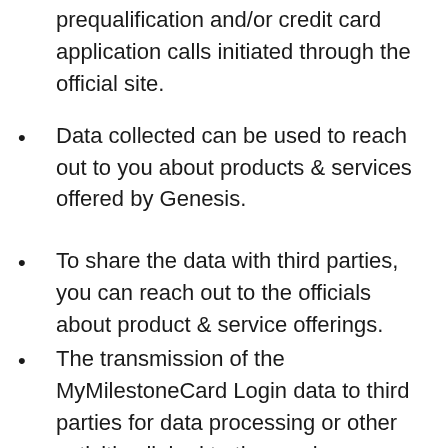prequalification and/or credit card application calls initiated through the official site.
Data collected can be used to reach out to you about products & services offered by Genesis.
To share the data with third parties, you can reach out to the officials about product & service offerings.
The transmission of the MyMilestoneCard Login data to third parties for data processing or other activities linked to the services or details you have officially requested.
If you wish to impair cookies, you can set the